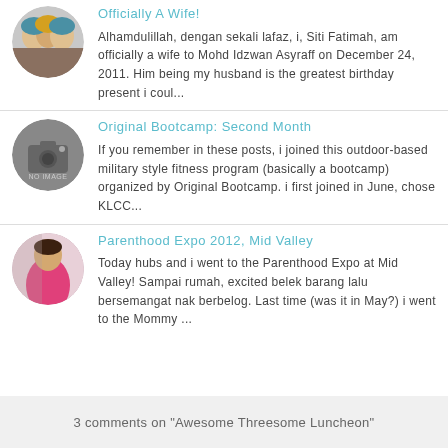Officially A Wife!
Alhamdulillah, dengan sekali lafaz, i, Siti Fatimah, am officially a wife to Mohd Idzwan Asyraff on December 24, 2011. Him being my husband is the greatest birthday present i coul...
Original Bootcamp: Second Month
If you remember in these posts, i joined this outdoor-based military style fitness program (basically a bootcamp) organized by Original Bootcamp. i first joined in June, chose KLCC...
Parenthood Expo 2012, Mid Valley
Today hubs and i went to the Parenthood Expo at Mid Valley! Sampai rumah, excited belek barang lalu bersemangat nak berbelog. Last time (was it in May?) i went to the Mommy ...
3 comments on "Awesome Threesome Luncheon"